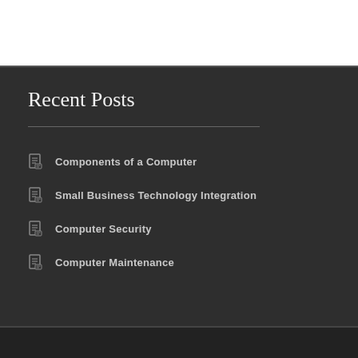Recent Posts
Components of a Computer
Small Business Technology Integration
Computer Security
Computer Maintenance